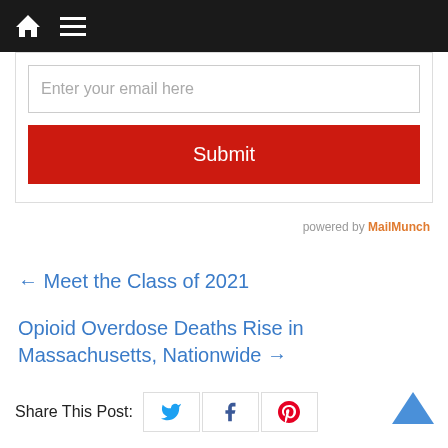Navigation bar with home and menu icons
Enter your email here
Submit
powered by MailMunch
← Meet the Class of 2021
Opioid Overdose Deaths Rise in Massachusetts, Nationwide →
Share This Post:
You May Also Like